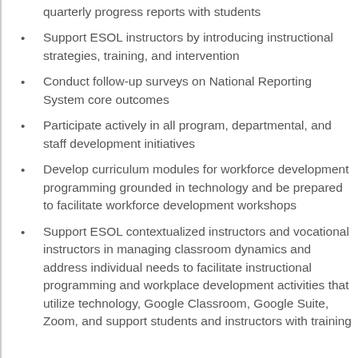quarterly progress reports with students
Support ESOL instructors by introducing instructional strategies, training, and intervention
Conduct follow-up surveys on National Reporting System core outcomes
Participate actively in all program, departmental, and staff development initiatives
Develop curriculum modules for workforce development programming grounded in technology and be prepared to facilitate workforce development workshops
Support ESOL contextualized instructors and vocational instructors in managing classroom dynamics and address individual needs to facilitate instructional programming and workplace development activities that utilize technology, Google Classroom, Google Suite, Zoom, and support students and instructors with training